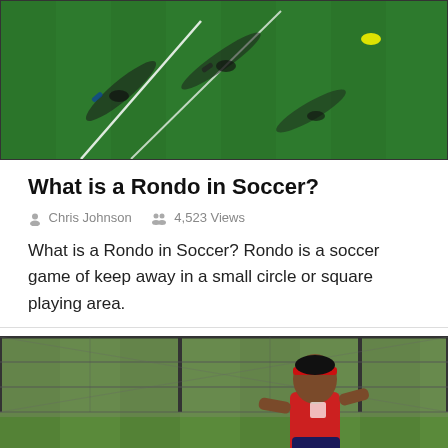[Figure (photo): Aerial view of a soccer field with players and training cones on green turf, viewed from above.]
What is a Rondo in Soccer?
Chris Johnson   4,523 Views
What is a Rondo in Soccer? Rondo is a soccer game of keep away in a small circle or square playing area.
[Figure (photo): Female soccer player in red uniform running on field, with another player sliding on the ground nearby, chain-link fence in background.]